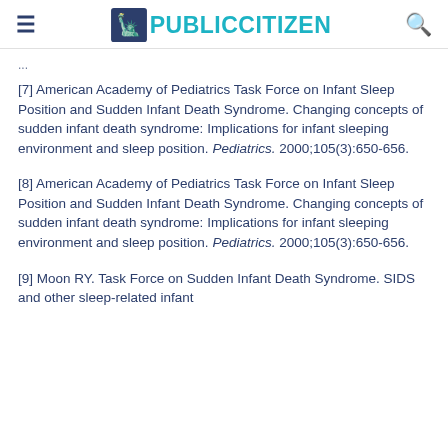PUBLIC CITIZEN
(partial truncated text)
[7] American Academy of Pediatrics Task Force on Infant Sleep Position and Sudden Infant Death Syndrome. Changing concepts of sudden infant death syndrome: Implications for infant sleeping environment and sleep position. Pediatrics. 2000;105(3):650-656.
[8] American Academy of Pediatrics Task Force on Infant Sleep Position and Sudden Infant Death Syndrome. Changing concepts of sudden infant death syndrome: Implications for infant sleeping environment and sleep position. Pediatrics. 2000;105(3):650-656.
[9] Moon RY. Task Force on Sudden Infant Death Syndrome. SIDS and other sleep-related infant...